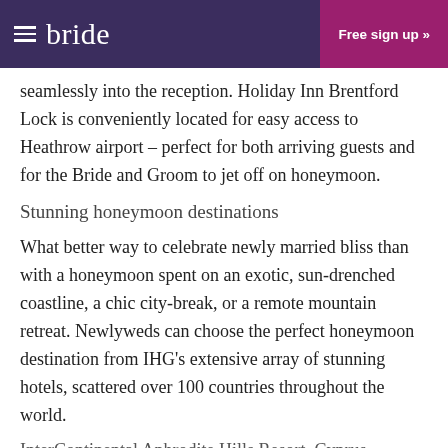bride | Free sign up »
seamlessly into the reception. Holiday Inn Brentford Lock is conveniently located for easy access to Heathrow airport – perfect for both arriving guests and for the Bride and Groom to jet off on honeymoon.
Stunning honeymoon destinations
What better way to celebrate newly married bliss than with a honeymoon spent on an exotic, sun-drenched coastline, a chic city-break, or a remote mountain retreat. Newlyweds can choose the perfect honeymoon destination from IHG's extensive array of stunning hotels, scattered over 100 countries throughout the world.
InterContinental Aphrodite Hills Resort, Cyprus
Named after the Greek Goddess of Love, newlyweds can spend their honeymoon in a Cypriot paradise at the